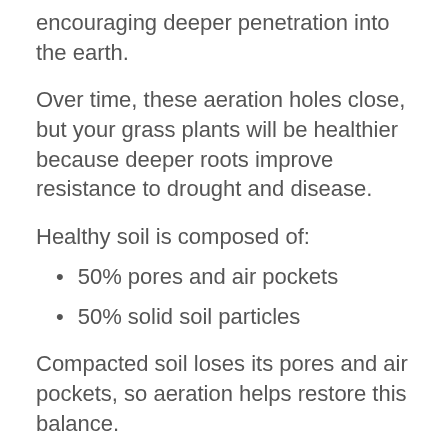encouraging deeper penetration into the earth.
Over time, these aeration holes close, but your grass plants will be healthier because deeper roots improve resistance to drought and disease.
Healthy soil is composed of:
50% pores and air pockets
50% solid soil particles
Compacted soil loses its pores and air pockets, so aeration helps restore this balance.
Clay soil has smaller pores and restricted